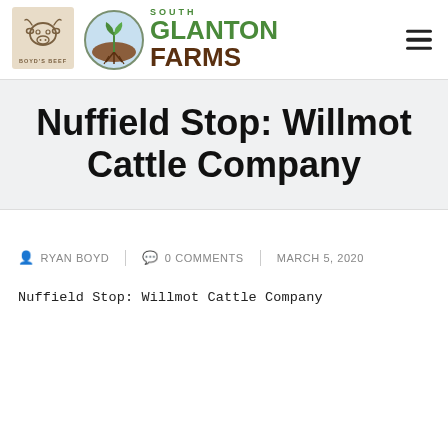[Figure (logo): Boyd's Beef logo — line drawing of a cow head on a tan/beige square background with 'BOYD'S BEEF' text below]
[Figure (logo): South Glanton Farms logo — circular emblem with a plant/leaf above stylized soil/roots, with green 'SOUTH GLANTON' and brown 'FARMS' text]
Nuffield Stop: Willmot Cattle Company
RYAN BOYD   0 COMMENTS   MARCH 5, 2020
Nuffield Stop: Willmot Cattle Company